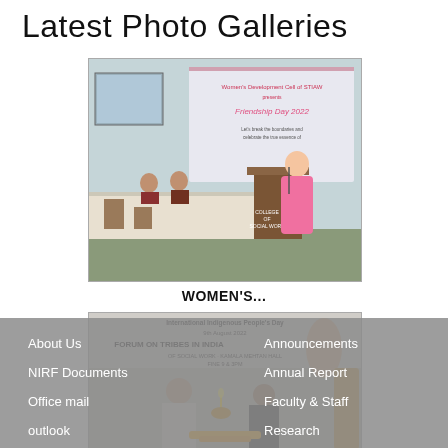Latest Photo Galleries
[Figure (photo): A woman in a pink sari speaking at a podium labeled 'College of Social Work'. A banner in the background reads 'Friendship Day 2022'. Other women are seated at a table behind her.]
WOMEN'S...
[Figure (photo): A man and woman lighting a lamp (diya) at an event. A banner reads 'International Indigenous People's Day, 9th August 2022, Forum on Tribes in India, College of Social Work, Kamala Mehtan Hall, Fine 9, 3PM'. Decorations include marigold flowers.]
About Us  NIRF Documents  Office mail  outlook  Announcements  Annual Report  Faculty & Staff  Research